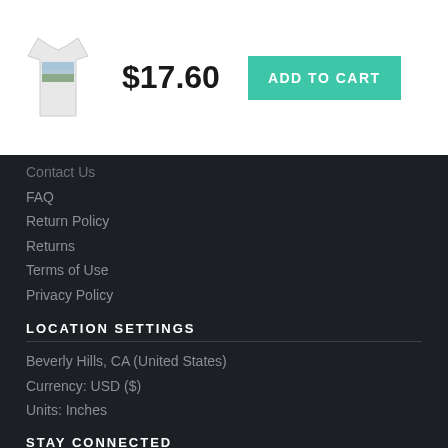[Figure (photo): White t-shirt product thumbnail with a landscape print]
$17.60
ADD TO CART
Contact Us
FAQ
Return Policy
Returns
Terms of Use
Privacy Policy
LOCATION SETTINGS
Beverly Hills, CA (United States)
Currency: USD ($)
Units: Inches
STAY CONNECTED
Sign up for our newsletter for exclusive deals, discount codes, and more.
[Figure (illustration): Social media icons: Facebook, Twitter, Instagram, Pinterest, YouTube]